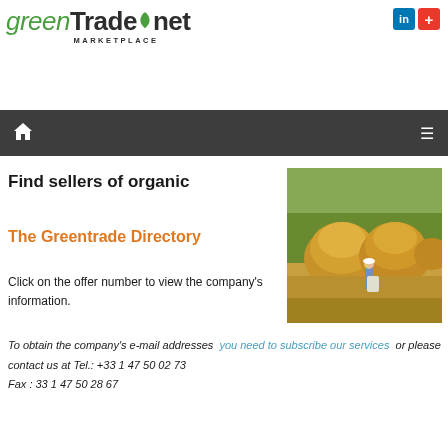greenTrade.net MARKETPLACE
Find sellers of organic
The Greentrade Directory
[Figure (photo): Agricultural scene with large round haystacks/straw bales in a field, with a farmer standing nearby holding a sack]
Click on the offer number to view the company's information.
To obtain the company's e-mail addresses  you need to subscribe our services  or please contact us at Tel.: +33 1 47 50 02 73 Fax : 33 1 47 50 28 67